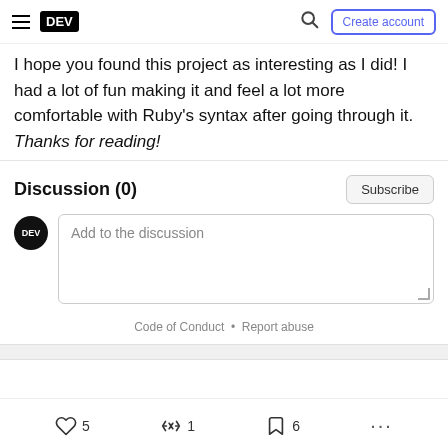DEV | Create account
I hope you found this project as interesting as I did! I had a lot of fun making it and feel a lot more comfortable with Ruby's syntax after going through it. Thanks for reading!
Discussion (0)
Subscribe
Add to the discussion
Code of Conduct • Report abuse
5  1  6  ...